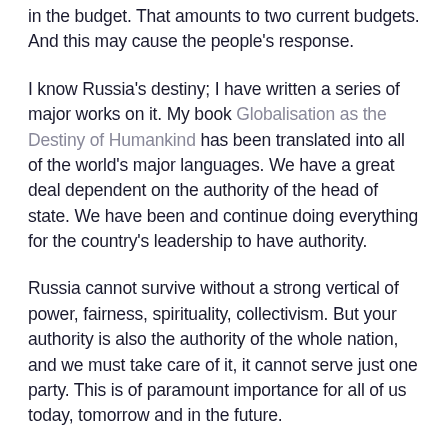in the budget. That amounts to two current budgets. And this may cause the people's response.
I know Russia's destiny; I have written a series of major works on it. My book Globalisation as the Destiny of Humankind has been translated into all of the world's major languages. We have a great deal dependent on the authority of the head of state. We have been and continue doing everything for the country's leadership to have authority.
Russia cannot survive without a strong vertical of power, fairness, spirituality, collectivism. But your authority is also the authority of the whole nation, and we must take care of it, it cannot serve just one party. This is of paramount importance for all of us today, tomorrow and in the future.
Now you are looking for a solution to balance the situation in the Duma. It can probably be balanced but under the current Constitution you have more powers that the General Secretary [of the Communist Party], and twice as much as the US